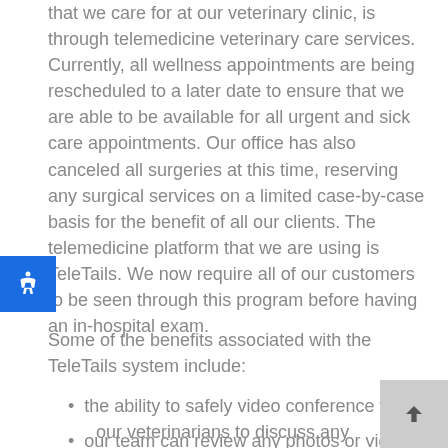that we care for at our veterinary clinic, is through telemedicine veterinary care services. Currently, all wellness appointments are being rescheduled to a later date to ensure that we are able to be available for all urgent and sick care appointments. Our office has also canceled all surgeries at this time, reserving any surgical services on a limited case-by-case basis for the benefit of all our clients. The telemedicine platform that we are using is TeleTails. We now require all of our customers to be seen through this program before having an in-hospital exam.
Some of the benefits associated with the TeleTails system include:
the ability to safely video conference with our veterinarians to discuss any healthcare concerns or issues regarding your pet
our team can review any photos or videos that